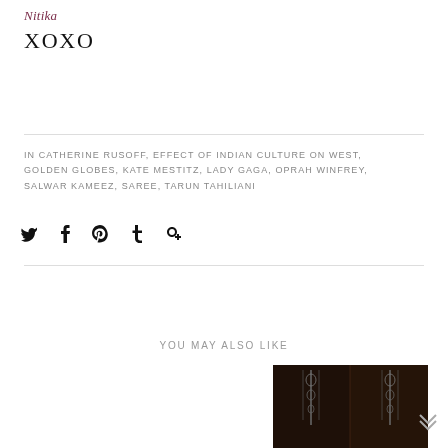Nitika
XOXO
IN CATHERINE RUSOFF, EFFECT OF INDIAN CULTURE ON WEST, GOLDEN GLOBES, KATE MESTITZ, LADY GAGA, OPRAH WINFREY, SALWAR KAMEEZ, SAREE, TARUN TAHILIANI
[Figure (infographic): Social media sharing icons: Twitter (bird), Facebook (f), Pinterest (p), Tumblr (t), Google+ (g+)]
YOU MAY ALSO LIKE
[Figure (photo): Photo of a model wearing a dark embellished formal gown, shown from the back, with intricate beadwork and embroidery details]